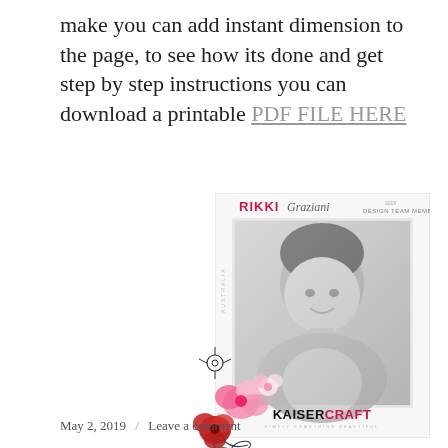make you can add instant dimension to the page, to see how its done and get step by step instructions you can download a printable PDF FILE HERE
[Figure (photo): Kaisercraft Design Team Member profile card for Rikki Graziani from Australia (2019), featuring a black and white portrait photo of a smiling woman, with pink and red floral decorations overlapping the bottom-left corner of the card, and the Kaisercraft logo at the bottom.]
May 2, 2019 / Leave a comment